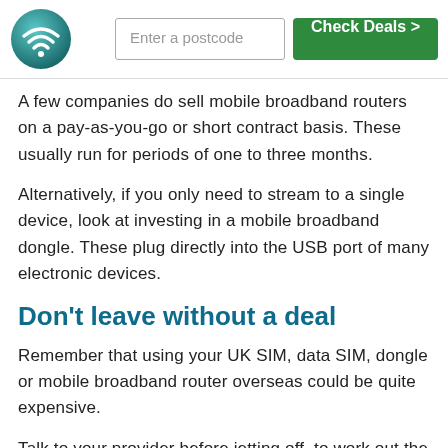Enter a postcode | Check Deals >
A few companies do sell mobile broadband routers on a pay-as-you-go or short contract basis. These usually run for periods of one to three months.
Alternatively, if you only need to stream to a single device, look at investing in a mobile broadband dongle. These plug directly into the USB port of many electronic devices.
Don't leave without a deal
Remember that using your UK SIM, data SIM, dongle or mobile broadband router overseas could be quite expensive.
Talk to your provider before jetting off, to work out the most suitable deal.
In some cases, it's cheaper to get a SIM or other mobile WiFi